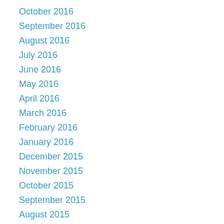October 2016
September 2016
August 2016
July 2016
June 2016
May 2016
April 2016
March 2016
February 2016
January 2016
December 2015
November 2015
October 2015
September 2015
August 2015
July 2015
April 2015
March 2015
December 2014
September 2014